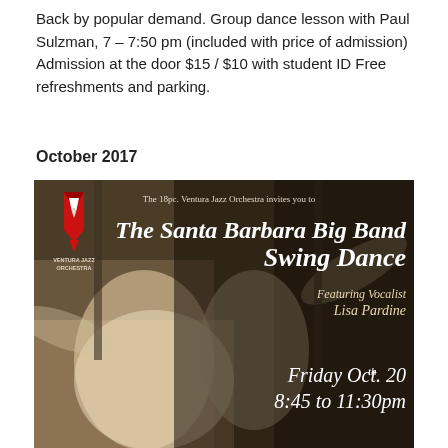Back by popular demand. Group dance lesson with Paul Sulzman, 7 – 7:50 pm (included with price of admission) Admission at the door $15 / $10 with student ID Free refreshments and parking.
October 2017
[Figure (illustration): Event poster for The Santa Barbara Big Band Swing Dance by the 18pc. Ventura Jazz Orchestra, featuring a vintage black and white photo of a man and woman swing dancing. Text: The 18pc. Ventura Jazz Orchestra invites you to The Santa Barbara Big Band Swing Dance, Featuring Vocalist Lisa Pardine, Friday Oct. 20th, 8:45 to 11:30pm. Ventura Jazz Orchestra logo in top left.]